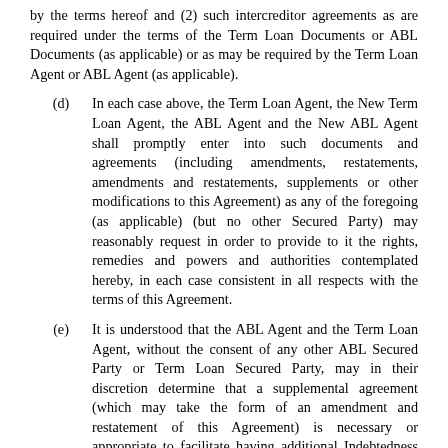by the terms hereof and (2) such intercreditor agreements as are required under the terms of the Term Loan Documents or ABL Documents (as applicable) or as may be required by the Term Loan Agent or ABL Agent (as applicable).
(d) In each case above, the Term Loan Agent, the New Term Loan Agent, the ABL Agent and the New ABL Agent shall promptly enter into such documents and agreements (including amendments, restatements, amendments and restatements, supplements or other modifications to this Agreement) as any of the foregoing (as applicable) (but no other Secured Party) may reasonably request in order to provide to it the rights, remedies and powers and authorities contemplated hereby, in each case consistent in all respects with the terms of this Agreement.
(e) It is understood that the ABL Agent and the Term Loan Agent, without the consent of any other ABL Secured Party or Term Loan Secured Party, may in their discretion determine that a supplemental agreement (which may take the form of an amendment and restatement of this Agreement) is necessary or appropriate to facilitate having additional Indebtedness or other obligations of any of the Grantors become Term Loan Obligations or ABL Obligations, as the case may be, under this Agreement (such Indebtedness or other obligations, "Additional Debt"), which supplemental agreement shall if